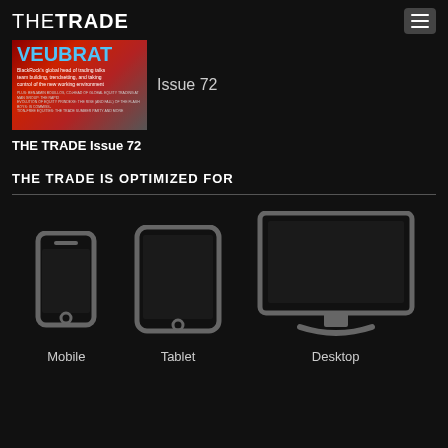THE TRADE
[Figure (photo): Cover of THE TRADE Issue 72 magazine showing 'VeuBrat' headline with BlackRock trading head article description]
Issue 72
THE TRADE Issue 72
THE TRADE IS OPTIMIZED FOR
[Figure (infographic): Three device icons: Mobile phone, Tablet, and Desktop monitor, showing the website/app is optimized for all three platforms]
Mobile   Tablet   Desktop